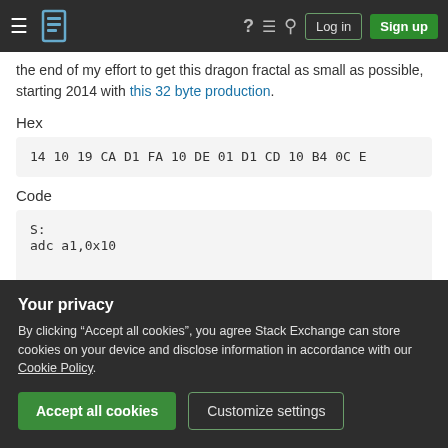Stack Exchange navigation bar with hamburger menu, logo, help, chat, search icons, Log in and Sign up buttons
the end of my effort to get this dragon fractal as small as possible, starting 2014 with this 32 byte production.
Hex
14 10 19 CA D1 FA 10 DE 01 D1 CD 10 B4 0C E
Code
S:
adc a1,0x10
Your privacy
By clicking "Accept all cookies", you agree Stack Exchange can store cookies on your device and disclose information in accordance with our Cookie Policy.
Accept all cookies
Customize settings